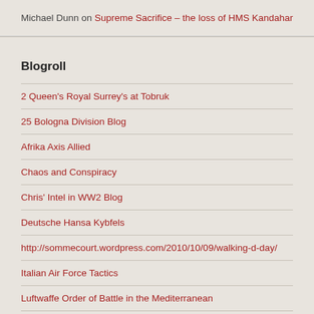Michael Dunn on Supreme Sacrifice – the loss of HMS Kandahar
Blogroll
2 Queen's Royal Surrey's at Tobruk
25 Bologna Division Blog
Afrika Axis Allied
Chaos and Conspiracy
Chris' Intel in WW2 Blog
Deutsche Hansa Kybfels
http://sommecourt.wordpress.com/2010/10/09/walking-d-day/
Italian Air Force Tactics
Luftwaffe Order of Battle in the Mediterranean
Malta, GC Diary